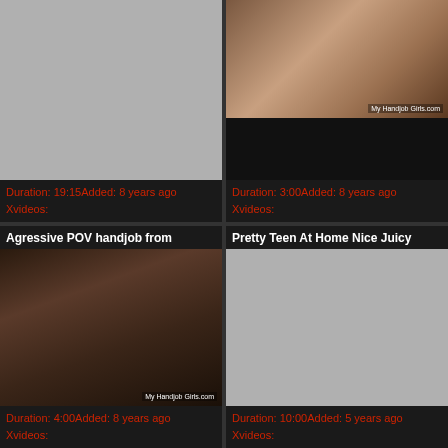[Figure (photo): Video thumbnail placeholder (gray) for first video card, top-left]
Duration: 19:15Added: 8 years ago
Xvideos:
[Figure (photo): Video thumbnail showing handjob clip with watermark 'My Handjob Girls.com', top-right]
Duration: 3:00Added: 8 years ago
Xvideos:
Agressive POV handjob from
[Figure (photo): Video thumbnail showing POV handjob scene with watermark 'My Handjob Girls.com', bottom-left]
Duration: 4:00Added: 8 years ago
Xvideos:
Pretty Teen At Home Nice Juicy
[Figure (photo): Video thumbnail placeholder (gray) for Pretty Teen video, bottom-right]
Duration: 10:00Added: 5 years ago
Xvideos: